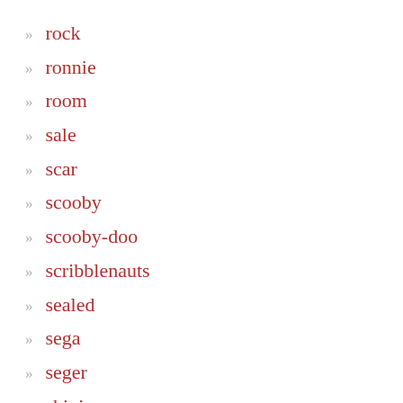rock
ronnie
room
sale
scar
scooby
scooby-doo
scribblenauts
sealed
sega
seger
shining
shopkins
sideshow